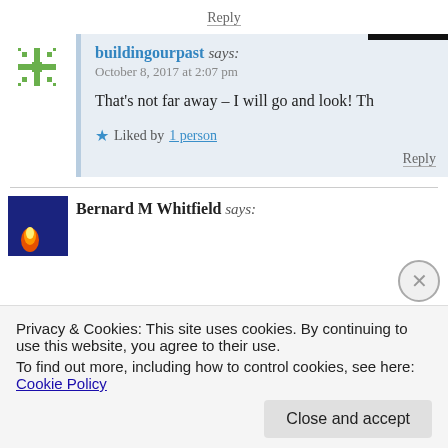Reply
buildingourpast says:
October 8, 2017 at 2:07 pm

That's not far away – I will go and look! Th

★ Liked by 1 person
Reply
Bernard M Whitfield says:
Privacy & Cookies: This site uses cookies. By continuing to use this website, you agree to their use.
To find out more, including how to control cookies, see here: Cookie Policy
Close and accept